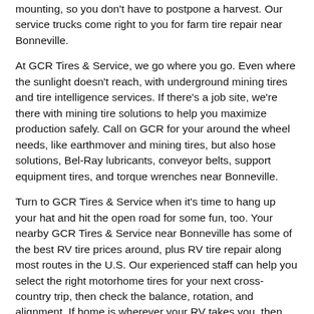mounting, so you don't have to postpone a harvest. Our service trucks come right to you for farm tire repair near Bonneville.
At GCR Tires & Service, we go where you go. Even where the sunlight doesn't reach, with underground mining tires and tire intelligence services. If there's a job site, we're there with mining tire solutions to help you maximize production safely. Call on GCR for your around the wheel needs, like earthmover and mining tires, but also hose solutions, Bel-Ray lubricants, conveyor belts, support equipment tires, and torque wrenches near Bonneville.
Turn to GCR Tires & Service when it's time to hang up your hat and hit the open road for some fun, too. Your nearby GCR Tires & Service near Bonneville has some of the best RV tire prices around, plus RV tire repair along most routes in the U.S. Our experienced staff can help you select the right motorhome tires for your next cross-country trip, then check the balance, rotation, and alignment. If home is wherever your RV takes you, then make sure the nearest GCR Tires & Service store is always right around the corner! Our RV tires and services will help you log miles of fun.
When you're shopping for some of the best commercial tires, you'll be hard pressed to find a commercial tire company in Bonneville with GCR's variety of tires and services. Got a pickup truck that